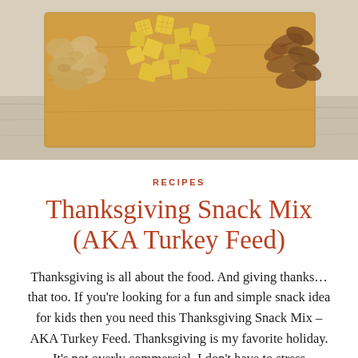[Figure (photo): Overhead photo of snack mix ingredients on a wooden cutting board: peanuts on the left, yellow Chex cereal pieces in the center, and pecans on the right, on a light wood surface.]
RECIPES
Thanksgiving Snack Mix (AKA Turkey Feed)
Thanksgiving is all about the food. And giving thanks…that too. If you're looking for a fun and simple snack idea for kids then you need this Thanksgiving Snack Mix – AKA Turkey Feed. Thanksgiving is my favorite holiday. It's not overly commercial. I don't have to stress